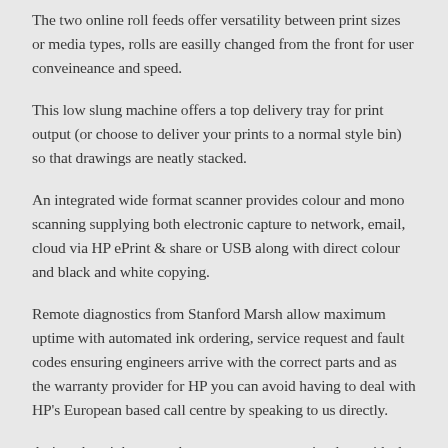The two online roll feeds offer versatility between print sizes or media types, rolls are easilly changed from the front for user conveineance and speed.
This low slung machine offers a top delivery tray for print output (or choose to deliver your prints to a normal style bin) so that drawings are neatly stacked.
An integrated wide format scanner provides colour and mono scanning supplying both electronic capture to network, email, cloud via HP ePrint & share or USB along with direct colour and black and white copying.
Remote diagnostics from Stanford Marsh allow maximum uptime with automated ink ordering, service request and fault codes ensuring engineers arrive with the correct parts and as the warranty provider for HP you can avoid having to deal with HP's European based call centre by speaking to us directly.
A six colour ink system keeps your cost per print down, ideal